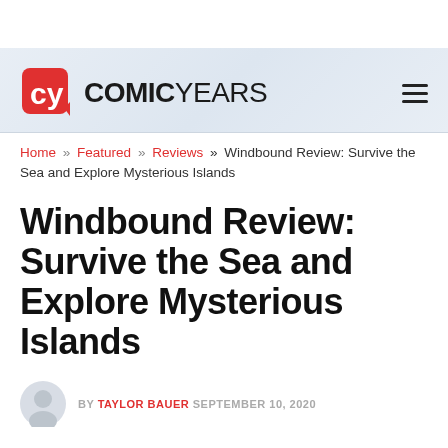[Figure (logo): ComicYears website logo with red CY icon and bold COMICYEARS text, plus hamburger menu icon]
Home » Featured » Reviews » Windbound Review: Survive the Sea and Explore Mysterious Islands
Windbound Review: Survive the Sea and Explore Mysterious Islands
BY TAYLOR BAUER  SEPTEMBER 10, 2020